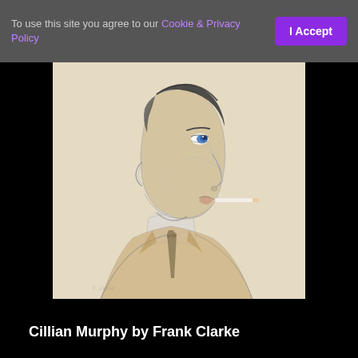To use this site you agree to our Cookie & Privacy Policy  I Accept
[Figure (illustration): Pencil sketch drawing of Cillian Murphy in side profile, wearing a suit jacket and collared shirt with a cigarette in his mouth. The subject has blue eyes and short dark hair. The drawing is rendered in graphite/charcoal on beige paper.]
Cillian Murphy by Frank Clarke